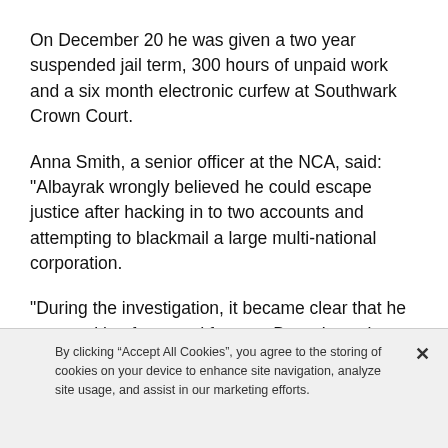On December 20 he was given a two year suspended jail term, 300 hours of unpaid work and a six month electronic curfew at Southwark Crown Court.
Anna Smith, a senior officer at the NCA, said: "Albayrak wrongly believed he could escape justice after hacking in to two accounts and attempting to blackmail a large multi-national corporation.
"During the investigation, it became clear that he was seeking fame and fortune. But cyber-crime doesn't pay."
Ms Smith said it was "imperative" those who believe themselves to be victims of cyber-crime reported it.
By clicking “Accept All Cookies”, you agree to the storing of cookies on your device to enhance site navigation, analyze site usage, and assist in our marketing efforts.